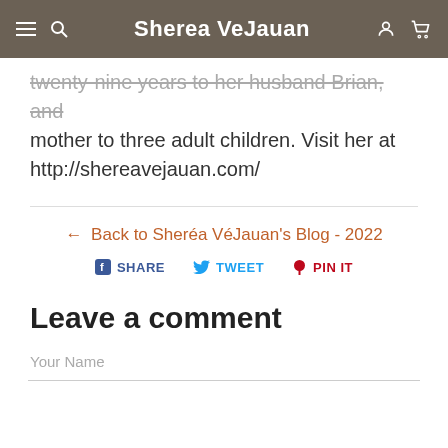Sherea VeJauan
twenty-nine years to her husband Brian, and mother to three adult children. Visit her at http://shereavejauan.com/
← Back to Sheréa VéJauan's Blog - 2022
SHARE  TWEET  PIN IT
Leave a comment
Your Name